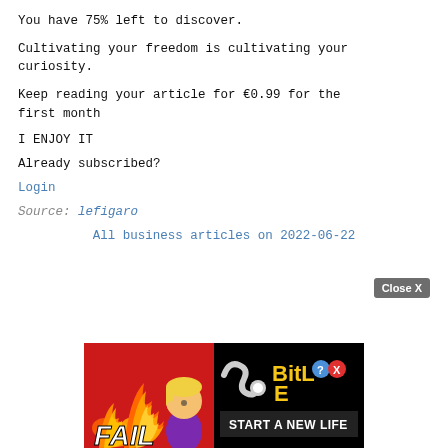You have 75% left to discover.
Cultivating your freedom is cultivating your curiosity.
Keep reading your article for €0.99 for the first month
I ENJOY IT
Already subscribed?
Login
Source: lefigaro
All business articles on 2022-06-22
[Figure (screenshot): Advertisement banner for BitLife mobile game with 'FAIL' text, cartoon character, flames, and 'START A NEW LIFE' tagline on a red background]